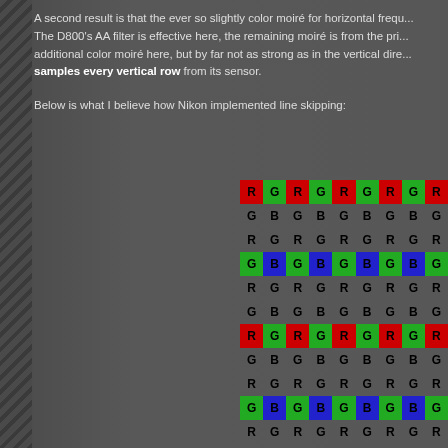A second result is that the ever so slightly color moiré for horizontal frequ... The D800's AA filter is effective here, the remaining moiré is from the pri... additional color moiré here, but by far not as strong as in the vertical dire... samples every vertical row from its sensor.
Below is what I believe how Nikon implemented line skipping:
[Figure (infographic): Bayer sensor pattern grid showing R/G/B pixel arrangement with highlighted rows in red, green, and blue indicating line skipping pattern]